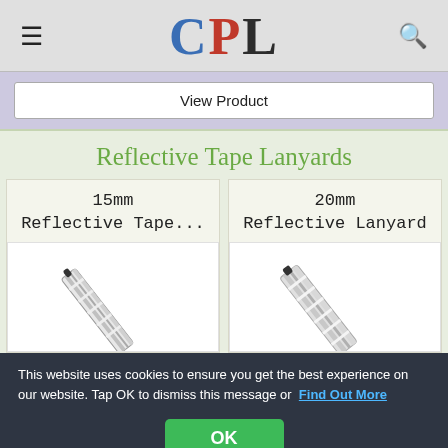CPL
View Product
Reflective Tape Lanyards
15mm
Reflective Tape...
[Figure (photo): 15mm Reflective Tape lanyard product image, diagonal orientation]
20mm
Reflective Lanyard
[Figure (photo): 20mm Reflective Lanyard product image, diagonal orientation]
This website uses cookies to ensure you get the best experience on our website. Tap OK to dismiss this message or Find Out More
OK